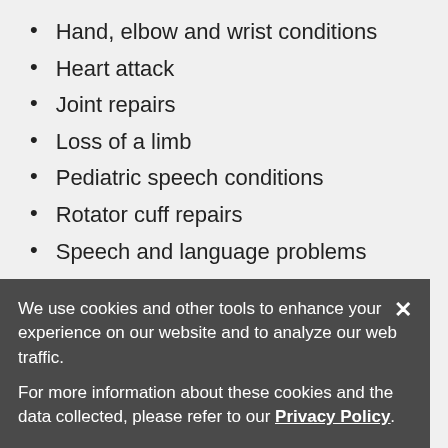Hand, elbow and wrist conditions
Heart attack
Joint repairs
Loss of a limb
Pediatric speech conditions
Rotator cuff repairs
Speech and language problems
Stroke
Swallowing problems
Total hip replacement
Total knee replacement
Pelvic floor therapy
Pneumonia
We use cookies and other tools to enhance your experience on our website and to analyze our web traffic. For more information about these cookies and the data collected, please refer to our Privacy Policy.